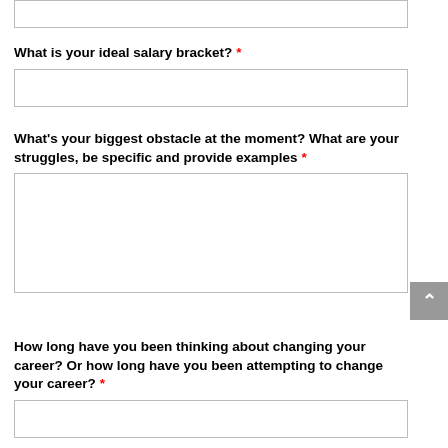What is your ideal salary bracket?  *
What's your biggest obstacle at the moment? What are your struggles, be specific and provide examples  *
How long have you been thinking about changing your career? Or how long have you been attempting to change your career?  *